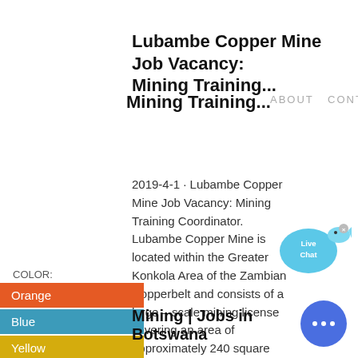Lubambe Copper Mine Job Vacancy: Mining Training...
MININGWORK... ABOUT CONTACT
2019-4-1 · Lubambe Copper Mine Job Vacancy: Mining Training Coordinator. Lubambe Copper Mine is located within the Greater Konkola Area of the Zambian Copperbelt and consists of a large – scale mining license covering an area of approximately 240 square kilometres. The mine is a modern, world class facility with...
[Figure (other): Live Chat bubble widget with fish icon]
COLOR:
Orange
Blue
Yellow
Mining | Jobs in Botswana
[Figure (other): Blue chat button circle with ellipsis dots]